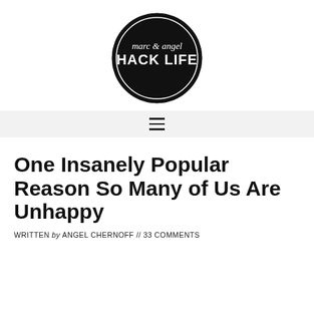[Figure (logo): Marc & Angel Hack Life circular logo — black circle with white text reading 'marc & angel' in italic serif and 'HACK LIFE' in bold sans-serif, with a thin white inner border ring]
≡
One Insanely Popular Reason So Many of Us Are Unhappy
WRITTEN by ANGEL CHERNOFF // 33 COMMENTS